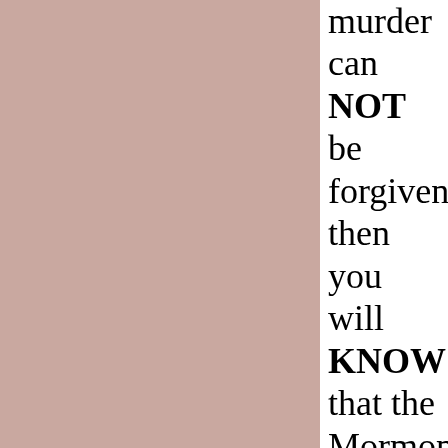[Figure (other): Large rose/dusty pink rectangular background panel occupying the left two-thirds of the page.]
murder can NOT be forgiven then you will KNOW that the Mormon books would be CONTRADICT EACH other. So then, how do you know